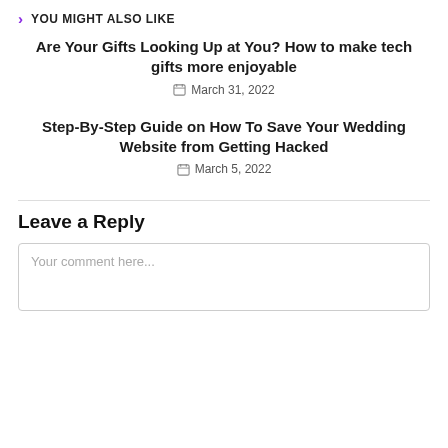YOU MIGHT ALSO LIKE
Are Your Gifts Looking Up at You? How to make tech gifts more enjoyable
March 31, 2022
Step-By-Step Guide on How To Save Your Wedding Website from Getting Hacked
March 5, 2022
Leave a Reply
Your comment here...